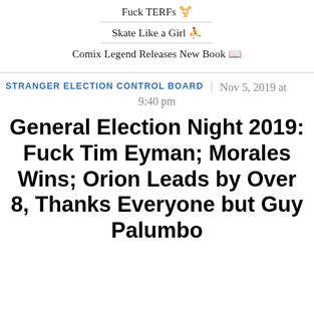Fuck TERFs 🏳️‍⚧️
Skate Like a Girl 🛹
Comix Legend Releases New Book 📚
STRANGER ELECTION CONTROL BOARD | Nov 5, 2019 at 9:40 pm
General Election Night 2019: Fuck Tim Eyman; Morales Wins; Orion Leads by Over 8, Thanks Everyone but Guy Palumbo